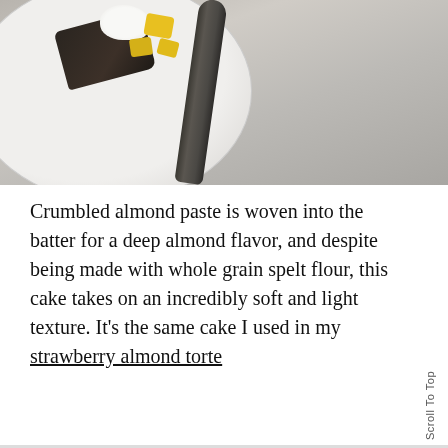[Figure (photo): Overhead photograph of a white plate with a dark chocolate/almond cake slice topped with cream and yellow mango pieces, with a dark metal fork/spoon resting on the plate, on a light grey linen background.]
Crumbled almond paste is woven into the batter for a deep almond flavor, and despite being made with whole grain spelt flour, this cake takes on an incredibly soft and light texture. It's the same cake I used in my strawberry almond torte
Scroll To Top